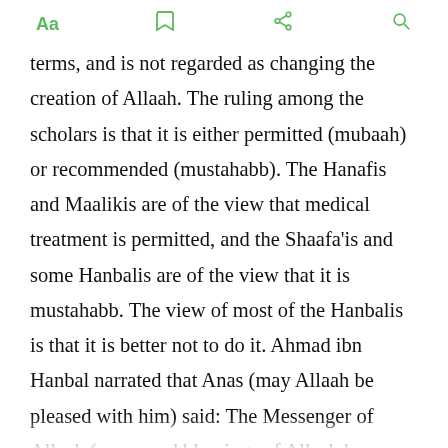Aa  [bookmark]  [share]  [search]
terms, and is not regarded as changing the creation of Allaah. The ruling among the scholars is that it is either permitted (mubaah) or recommended (mustahabb). The Hanafis and Maalikis are of the view that medical treatment is permitted, and the Shaafa'is and some Hanbalis are of the view that it is mustahabb. The view of most of the Hanbalis is that it is better not to do it. Ahmad ibn Hanbal narrated that Anas (may Allaah be pleased with him) said: The Messenger of Allaah (peace and blessings of Allaah be upon him) said: “When Allaah created the disease, He also created the cure, so seek the cure.” Narrated